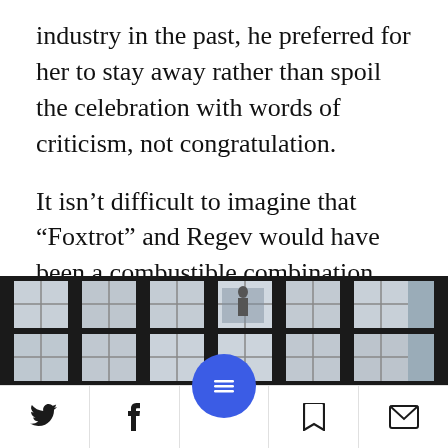industry in the past, he preferred for her to stay away rather than spoil the celebration with words of criticism, not congratulation.
It isn’t difficult to imagine that “Foxtrot” and Regev would have been a combustible combination. She already chose to slam the movie when its Silver Lion prize was announced earlier this month, taking to Facebook with a post that was anything but congratulatory.
[Figure (photo): Photograph showing a building facade with a grid of windows, dark vertical dividers, partially cropped at bottom of the page.]